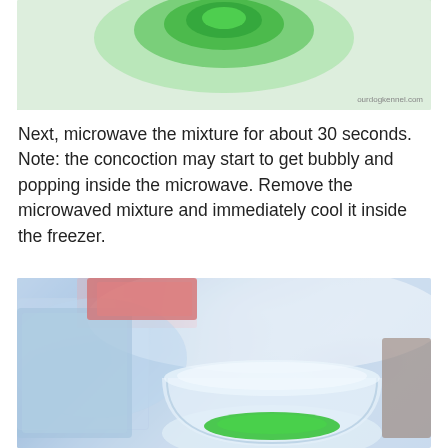[Figure (photo): Close-up photo of a green bubbly mixture in a bowl, seen from above, with white background. Watermark 'ourdogkennel.com' in bottom right.]
Next, microwave the mixture for about 30 seconds. Note: the concoction may start to get bubbly and popping inside the microwave. Remove the microwaved mixture and immediately cool it inside the freezer.
[Figure (photo): Photo of a frosted/icy plastic bowl containing bright green liquid mixture, placed inside a freezer alongside other containers. Mist and frost visible on the bowl and surroundings.]